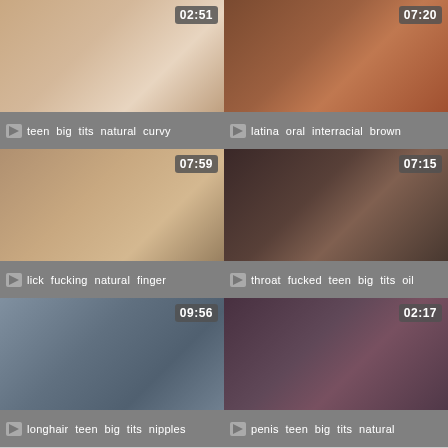[Figure (screenshot): Video thumbnail grid cell 1, duration 02:51]
teen  big  tits  natural  curvy
[Figure (screenshot): Video thumbnail grid cell 2, duration 07:20]
latina  oral  interracial  brown
[Figure (screenshot): Video thumbnail grid cell 3, duration 07:59]
lick  fucking  natural  finger
[Figure (screenshot): Video thumbnail grid cell 4, duration 07:15]
throat  fucked  teen  big  tits  oil
[Figure (screenshot): Video thumbnail grid cell 5, duration 09:56]
longhair  teen  big  tits  nipples
[Figure (screenshot): Video thumbnail grid cell 6, duration 02:17]
penis  teen  big  tits  natural